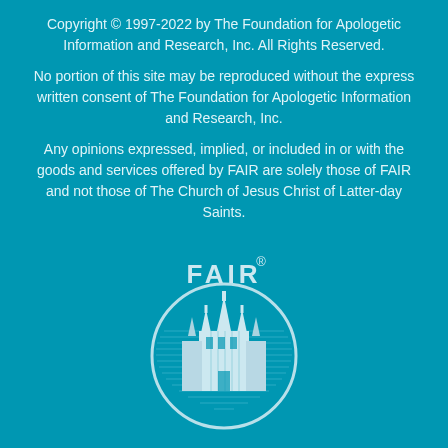Copyright © 1997-2022 by The Foundation for Apologetic Information and Research, Inc. All Rights Reserved.
No portion of this site may be reproduced without the express written consent of The Foundation for Apologetic Information and Research, Inc.
Any opinions expressed, implied, or included in or with the goods and services offered by FAIR are solely those of FAIR and not those of The Church of Jesus Christ of Latter-day Saints.
[Figure (logo): FAIR logo: oval shape containing an illustration of a temple/castle building with spires, the letters FAIR above it, and a registered trademark symbol]
FAIR is controlled and operated by the Foundation for Apologetic Information and Research (FAIR)